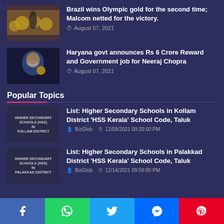[Figure (photo): Brazil football team players in yellow jerseys celebrating]
Brazil wins Olympic gold for the second time; Malcom netted for the victory.
August 07, 2021
[Figure (photo): Athlete wearing mask holding a medal]
Haryana govt announces Rs 6 Crore Reward and Government job for Neeraj Chopra
August 07, 2021
Popular Topics
[Figure (photo): Higher Secondary Schools HSS in Kollam District thumbnail]
List: Higher Secondary Schools in Kollam District 'HSS Kerala' School Code, Taluk
BizGlob  12/08/2021 09:20:00 PM
[Figure (photo): Higher Secondary Schools HSS in Palakkad District thumbnail]
List: Higher Secondary Schools in Palakkad District 'HSS Kerala' School Code, Taluk
BizGlob  12/14/2021 09:59:00 PM